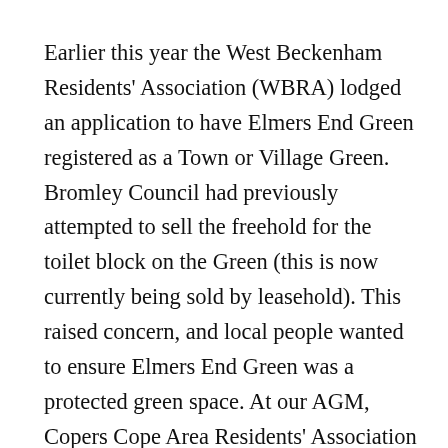Earlier this year the West Beckenham Residents' Association (WBRA) lodged an application to have Elmers End Green registered as a Town or Village Green. Bromley Council had previously attempted to sell the freehold for the toilet block on the Green (this is now currently being sold by leasehold). This raised concern, and local people wanted to ensure Elmers End Green was a protected green space. At our AGM, Copers Cope Area Residents' Association members agreed to support WBRA's application and our Association wrote in support to the Council, and asked other